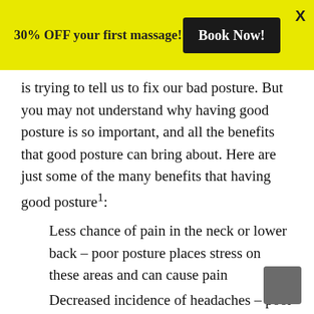30% OFF your first massage!  Book Now!  X
is trying to tell us to fix our bad posture. But you may not understand why having good posture is so important, and all the benefits that good posture can bring about. Here are just some of the many benefits that having good posture¹:
Less chance of pain in the neck or lower back – poor posture places stress on these areas and can cause pain
Decreased incidence of headaches – poor posture leads to increased muscle tension at the back of the neck which can cause tension headaches
Increased energy levels – when all of our joints are